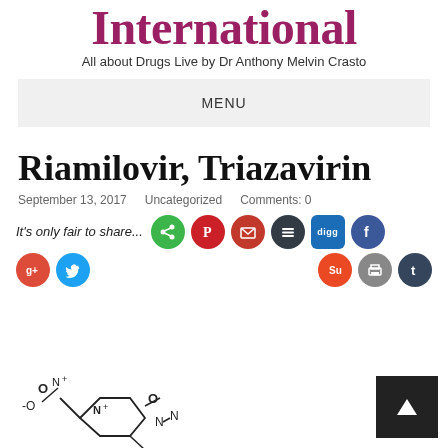International
All about Drugs Live by Dr Anthony Melvin Crasto
MENU
Riamilovir, Triazavirin
September 13, 2017    Uncategorized    Comments: 0
It's only fair to share...
[Figure (illustration): Chemical structure diagram of Riamilovir (Triazavirin) showing molecular structure with NO2, N, O, and other chemical groups]